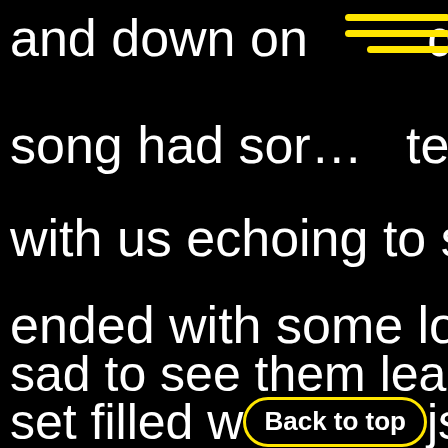and down on da
song had sor... ...te
with us echoing to s
ended with some lo
sad to see them lea
set filled w [Back to top] js